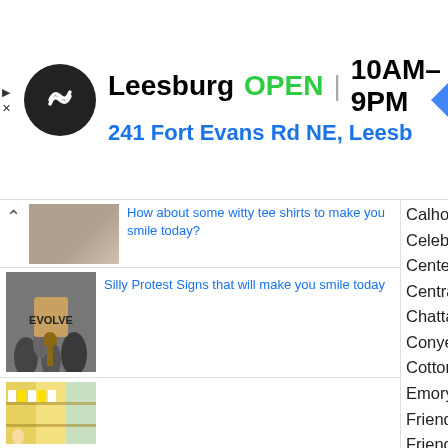[Figure (screenshot): Ad banner for a store in Leesburg showing logo, OPEN status, hours 10AM-9PM, address 241 Fort Evans Rd NE, Leesb, and navigation icon]
[Figure (photo): Partial image of a person with witty tee shirts text link]
How about some witty tee shirts to make you smile today?
[Figure (photo): Photo of protest crowd with a person holding EVOLVE sign]
Silly Protest Signs that will make you smile today
[Figure (photo): Grocery store aisle with yellow products]
Calhoun Little Theater
Celebrate Clayton
Center for Art and Rehabilatative Ener
Central Georgia Technical College Fou
Chattahoochee Nature Center
Conyers Cherry Blossom Festival
Cotton States Cat Club
Emory University
Friends of Calhouns Gem Theatre
Friends of the Gordon-Lee Mansion
Friends of the Gwinnett County Pulic L
Georgia Foundation for Public Spaces
Georgia Museums Inc
Georgia Philharmonic
Georgia State Parks and Historic
Gilmer Arts, Inc.
Gwinnett County Parks & Recreation
Gwinnett County Sheriff's Office
Gwinnett Historical Society, Elisha Win
Habersham Community Theater